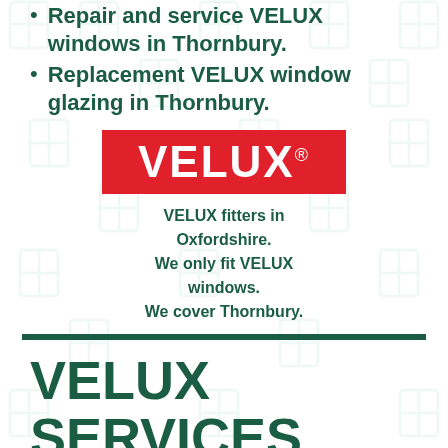Repair and service VELUX windows in Thornbury.
Replacement VELUX window glazing in Thornbury.
[Figure (logo): VELUX logo: white text on red background rectangle]
VELUX fitters in Oxfordshire. We only fit VELUX windows. We cover Thornbury.
VELUX SERVICES
[Figure (infographic): NEW INSTALL button with a VELUX skylight window icon and green arrow]